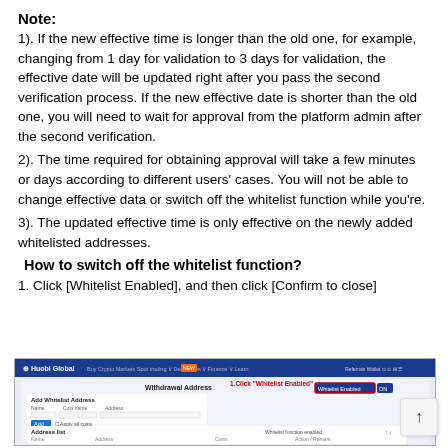Note:
1). If the new effective time is longer than the old one, for example, changing from 1 day for validation to 3 days for validation, the effective date will be updated right after you pass the second verification process. If the new effective date is shorter than the old one, you will need to wait for approval from the platform admin after the second verification.
2). The time required for obtaining approval will take a few minutes or days according to different users' cases. You will not be able to change effective data or switch off the whitelist function while you're.
3). The updated effective time is only effective on the newly added whitelisted addresses.
How to switch off the whitelist function?
1. Click [Whitelist Enabled], and then click [Confirm to close]
[Figure (screenshot): Screenshot of the Huobi Global platform showing the Whitelist Address page with a red label '1.Click "Whitelist Enabled"' pointing to a button in the top right area of the interface. The page shows a form for adding whitelist addresses with fields for address details and a list of addresses below.]